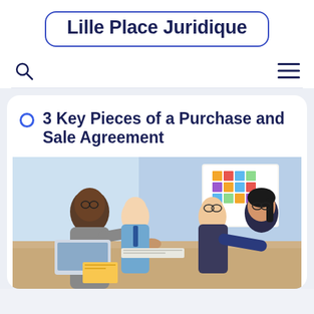Lille Place Juridique
3 Key Pieces of a Purchase and Sale Agreement
[Figure (photo): Business people sitting around a table shaking hands in a meeting room, with a whiteboard covered in colorful sticky notes in the background.]